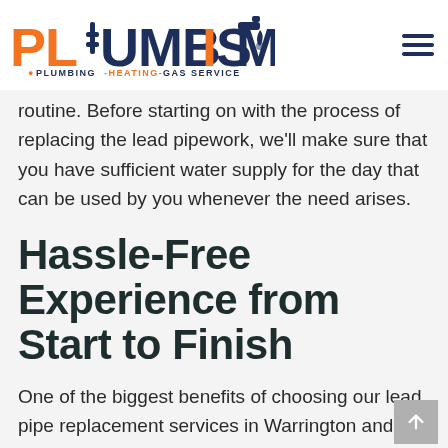PLUMBISMO - PLUMBING-HEATING-GAS SERVICE
routine. Before starting on with the process of replacing the lead pipework, we'll make sure that you have sufficient water supply for the day that can be used by you whenever the need arises.
Hassle-Free Experience from Start to Finish
One of the biggest benefits of choosing our lead pipe replacement services in Warrington and surrounding areas is the fact that we promise you